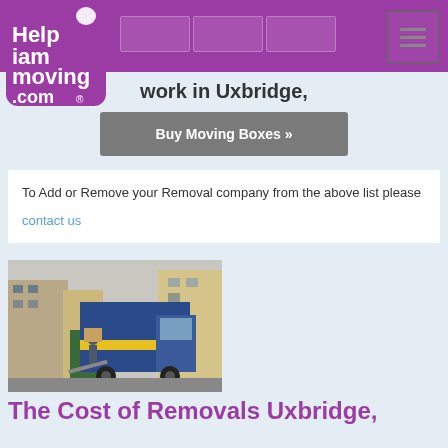helpiammoving.com logo and navigation header
work in Uxbridge,
Buy Moving Boxes »
To Add or Remove your Removal company from the above list please
contact us
[Figure (photo): Photo of a removals lorry/truck with workers loading boxes via a ramp on a street]
The Cost of Removals Uxbridge,
Moving house is a major event in your life with